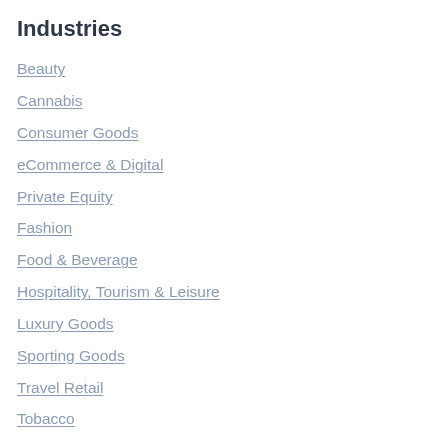Industries
Beauty
Cannabis
Consumer Goods
eCommerce & Digital
Private Equity
Fashion
Food & Beverage
Hospitality, Tourism & Leisure
Luxury Goods
Sporting Goods
Travel Retail
Tobacco